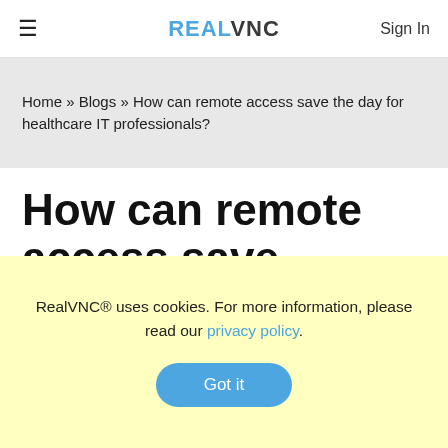≡  RealVNC  Sign In
Home » Blogs » How can remote access save the day for healthcare IT professionals?
How can remote access save the day for healthcare IT
RealVNC® uses cookies. For more information, please read our privacy policy.
Got it